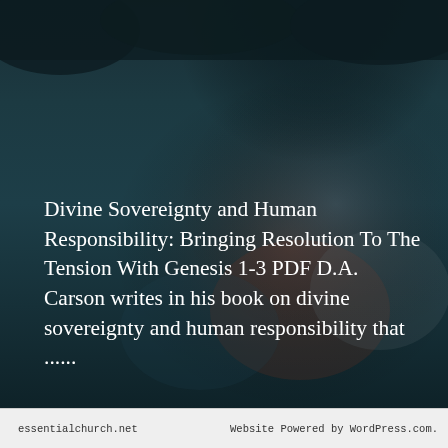[Figure (photo): Dark teal blurred background photo of a crowd of people, with dark overlay giving a moody atmospheric look]
Divine Sovereignty and Human Responsibility: Bringing Resolution To The Tension With Genesis 1-3 PDF D.A. Carson writes in his book on divine sovereignty and human responsibility that ......
READ MORE →
essentialchurch.net    Website Powered by WordPress.com.